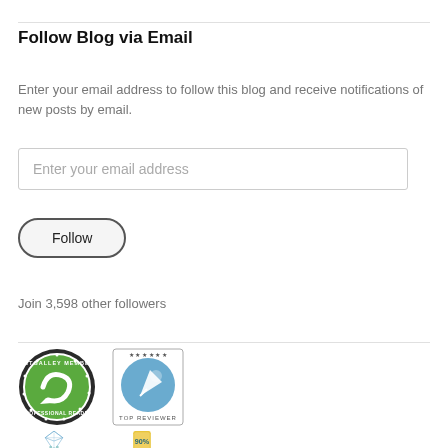Follow Blog via Email
Enter your email address to follow this blog and receive notifications of new posts by email.
Enter your email address
Follow
Join 3,598 other followers
[Figure (logo): NetGalley Member Professional Reader badge - circular green logo]
[Figure (logo): Top Reviewer badge - circular blue logo with stars]
[Figure (logo): Partial Goodreads badge - blue diamond shape (cropped)]
[Figure (logo): Partial 90% badge - yellow ribbon shape (cropped)]